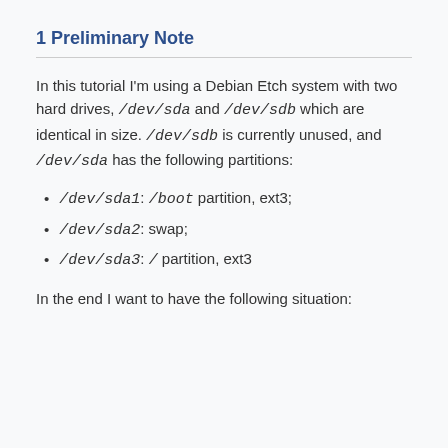1 Preliminary Note
In this tutorial I'm using a Debian Etch system with two hard drives, /dev/sda and /dev/sdb which are identical in size. /dev/sdb is currently unused, and /dev/sda has the following partitions:
/dev/sda1: /boot partition, ext3;
/dev/sda2: swap;
/dev/sda3: / partition, ext3
In the end I want to have the following situation: